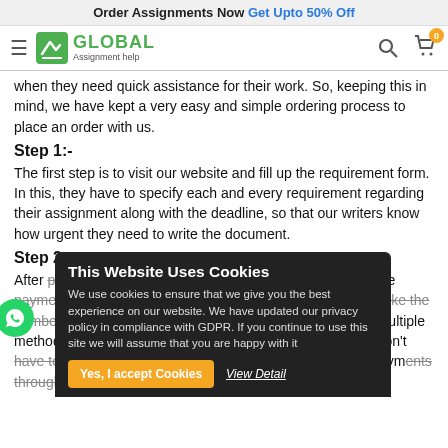Order Assignments Now Get Upto 50% Off
[Figure (logo): Global Assignment Help logo with hamburger menu, search and cart icons]
when they need quick assistance for their work. So, keeping this in mind, we have kept a very easy and simple ordering process to place an order with us.
Step 1:-
The first step is to visit our website and fill up the requirement form. In this, they have to specify each and every requirement regarding their assignment along with the deadline, so that our writers know how urgent they need to write the document.
Step 2:-
After providing the specifications, students are asked to make payment. There are various factors which decide the price, like the number of pages, the date. Payment can be done through multiple methods like credit card, debit card, while doing it, they don't have to worry about the security as we receive all payments through a secured payment gateway, i.e., Paypal.
This Website Uses Cookies
We use cookies to ensure that we give you the best experience on our website. We have updated our privacy policy in compliance with GDPR. If you continue to use this site we will assume that you are happy with it
Yes, I accept Cookies  View Detail